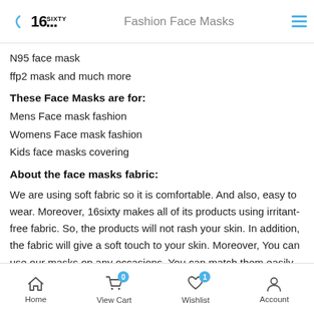Fashion Face Masks
N95 face mask
ffp2 mask and much more
These Face Masks are for:
Mens Face mask fashion
Womens Face mask fashion
Kids face masks covering
About the face masks fabric:
We are using soft fabric so it is comfortable. And also, easy to wear. Moreover, 16sixty makes all of its products using irritant-free fabric. So, the products will not rash your skin. In addition, the fabric will give a soft touch to your skin. Moreover, You can use our masks on any occasions. You can match them easily because of their colours and designs. Furthermore, Some of our popular design can easily be
Home | View Cart (0) | Wishlist (1) | Account